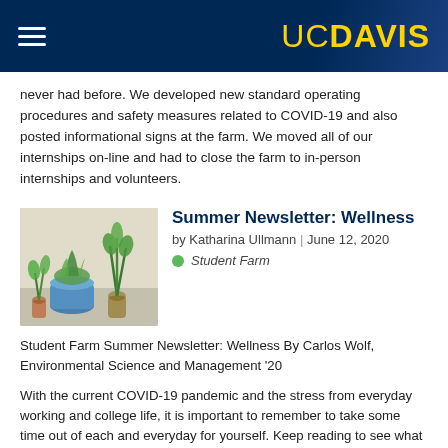UC DAVIS
never had before. We developed new standard operating procedures and safety measures related to COVID-19 and also posted informational signs at the farm. We moved all of our internships on-line and had to close the farm to in-person internships and volunteers.
[Figure (photo): Photo of potted plants on a windowsill including green leafy herbs and a succulent in a decorative blue pot.]
Summer Newsletter: Wellness
by Katharina Ullmann | June 12, 2020
Student Farm
Student Farm Summer Newsletter: Wellness By Carlos Wolf, Environmental Science and Management ’20
With the current COVID-19 pandemic and the stress from everyday working and college life, it is important to remember to take some time out of each and everyday for yourself. Keep reading to see what wellness professional Emilia George and lead student farmer Alany Vallo do to maintain their